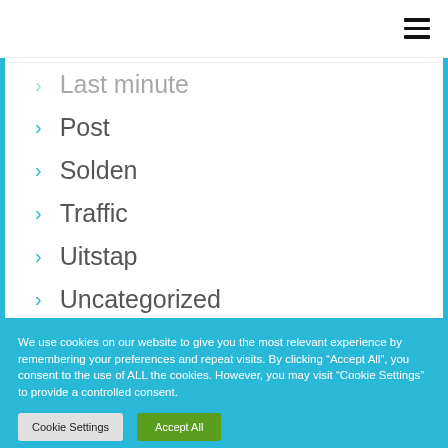Last minute
Post
Solden
Traffic
Uitstap
Uncategorized
Voorjaarsaanbieding
We use cookies on our website to give you the most relevant experience by remembering your preferences and repeat visits. By clicking “Accept All”, you consent to the use of ALL the cookies. However, you may visit "Cookie Settings" to provide a controlled consent.